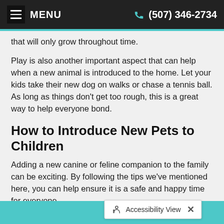MENU   (507) 346-2734
that will only grow throughout time.
Play is also another important aspect that can help when a new animal is introduced to the home. Let your kids take their new dog on walks or chase a tennis ball. As long as things don’t get too rough, this is a great way to help everyone bond.
How to Introduce New Pets to Children
Adding a new canine or feline companion to the family can be exciting. By following the tips we’ve mentioned here, you can help ensure it is a safe and happy time for everyone.